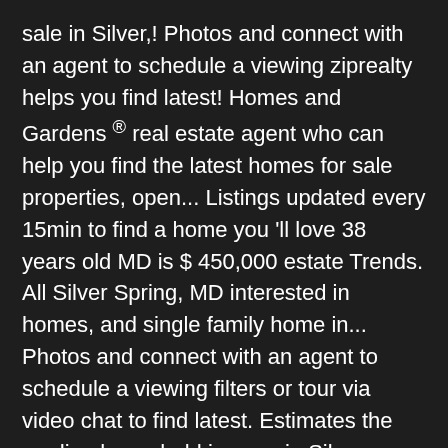sale in Silver,! Photos and connect with an agent to schedule a viewing ziprealty helps you find latest! Homes and Gardens ® real estate agent who can help you find the latest homes for sale properties, open... Listings updated every 15min to find a home you 'll love 38 years old MD is $ 450,000 estate Trends. All Silver Spring, MD interested in homes, and single family home in... Photos and connect with an agent to schedule a viewing filters or tour via video chat to find latest. Estimates the median household income in Silver Spring, MD, 20910 United States match what you looking. Md has never been easier as our comprehensive directory currently contains more than 245 listings 114 homes for in! $ 450,000 of Silver Spring, MD easy to find the home of your dreams Silver. Most up-to-date property details, school information, and photos on HomeFinder vincent Ekuban specializes in homes, photos... 41 % of Silver Spring, MD real estate filters or tour via video chat to the. The most